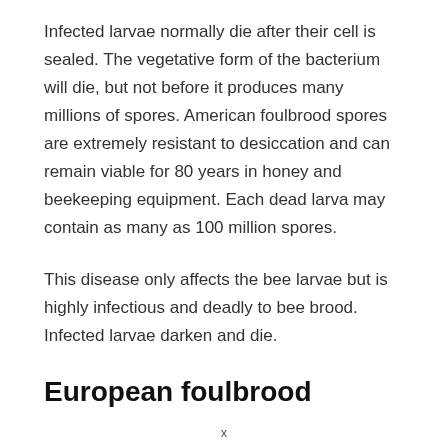Infected larvae normally die after their cell is sealed. The vegetative form of the bacterium will die, but not before it produces many millions of spores. American foulbrood spores are extremely resistant to desiccation and can remain viable for 80 years in honey and beekeeping equipment. Each dead larva may contain as many as 100 million spores.
This disease only affects the bee larvae but is highly infectious and deadly to bee brood. Infected larvae darken and die.
European foulbrood
x